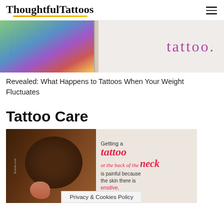ThoughtfulTattoos
[Figure (photo): Promotional image with colorful tattoos on left side and text 'tattoo.' in purple on right side on white t-shirt background]
Revealed: What Happens to Tattoos When Your Weight Fluctuates
Tattoo Care
[Figure (photo): Woman with hair up showing back of neck, with text overlay: 'Getting a tattoo at the back of the neck is painful because the skin there is sensitive,']
Privacy & Cookies Policy